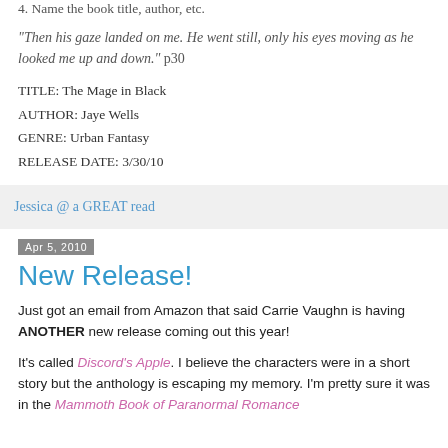4. Name the book title, author, etc.
"Then his gaze landed on me. He went still, only his eyes moving as he looked me up and down." p30
TITLE: The Mage in Black
AUTHOR: Jaye Wells
GENRE: Urban Fantasy
RELEASE DATE: 3/30/10
Jessica @ a GREAT read
Apr 5, 2010
New Release!
Just got an email from Amazon that said Carrie Vaughn is having ANOTHER new release coming out this year!
It's called Discord's Apple. I believe the characters were in a short story but the anthology is escaping my memory. I'm pretty sure it was in the Mammoth Book of Paranormal Romance